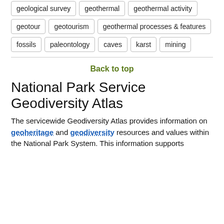geological survey
geothermal
geothermal activity
geotour
geotourism
geothermal processes & features
fossils
paleontology
caves
karst
mining
Back to top
National Park Service Geodiversity Atlas
The servicewide Geodiversity Atlas provides information on geoheritage and geodiversity resources and values within the National Park System. This information supports